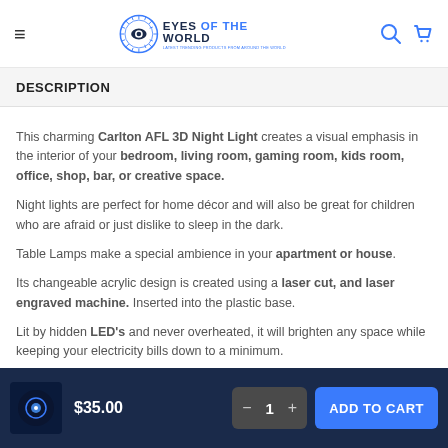Eyes of the World — navigation header with logo, search and cart icons
DESCRIPTION
This charming Carlton AFL 3D Night Light creates a visual emphasis in the interior of your bedroom, living room, gaming room, kids room, office, shop, bar, or creative space.
Night lights are perfect for home décor and will also be great for children who are afraid or just dislike to sleep in the dark.
Table Lamps make a special ambience in your apartment or house.
Its changeable acrylic design is created using a laser cut, and laser engraved machine. Inserted into the plastic base.
Lit by hidden LED's and never overheated, it will brighten any space while keeping your electricity bills down to a minimum.
$35.00  — 1 + ADD TO CART